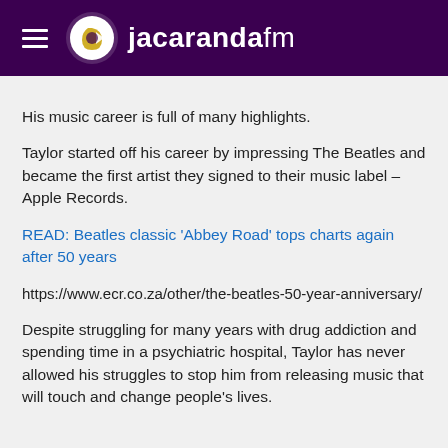jacarandafm
His music career is full of many highlights.
Taylor started off his career by impressing The Beatles and became the first artist they signed to their music label – Apple Records.
READ: Beatles classic 'Abbey Road' tops charts again after 50 years
https://www.ecr.co.za/other/the-beatles-50-year-anniversary/
Despite struggling for many years with drug addiction and spending time in a psychiatric hospital, Taylor has never allowed his struggles to stop him from releasing music that will touch and change people's lives.